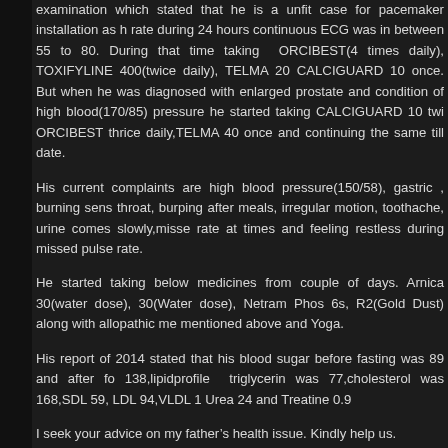examination which stated that he is a unfit case for pacemaker installation as h rate during 24 hours continuous ECG was in between 55 to 80. During that time taking ORCIBEST(4 times daily), TOXIFYLINE 400(twice daily), TELMA 20 CALCIGUARD 10 once. But when he was diagnosed with enlarged prostate and condition of high blood(170/85) pressure he started taking CALCIGUARD 10 twi ORCIBEST thrice daily,TELMA 40 once and continuing the same till date.
His current complaints are high blood pressure(150/58), gastric , burning sens throat, burping after meals, irregular motion, toothache, urine comes slowly,miss rate at times and feeling restless during missed pulse rate.
He started taking below medicines from couple of days. Arnica 30(water dose), 30(Water dose), Netram Phos 6s, R2(Gold Dust) along with allopathic m mentioned above and Yoga.
His report of 2014 stated that his blood sugar before fasting was 89 and after f 138,lipidprofile triglycerin was 77,cholesterol was 168,SDL 59, LDL 94,VLDL 1 Urea 24 and Treatine 0.9
I seek your advice on my father’s health issue. Kindly help us.
Thanks & Regards,
Rudra
Reply
Joe says:
June 19, 2016 at 11:32 AM
Your father’s case is extremely complicated and I hope that I will be able to h measure although all his doctors did not seem to have succeeded in doin